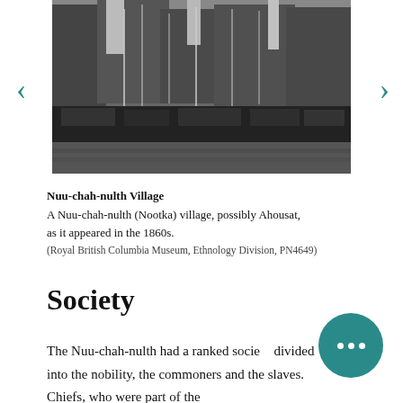[Figure (photo): Black and white photograph of a Nuu-chah-nulth (Nootka) village, possibly Ahousat, as it appeared in the 1860s. Shows boats/canoes along a waterfront with tall trees in the background.]
Nuu-chah-nulth Village
A Nuu-chah-nulth (Nootka) village, possibly Ahousat, as it appeared in the 1860s.
(Royal British Columbia Museum, Ethnology Division, PN4649)
Society
The Nuu-chah-nulth had a ranked society divided into the nobility, the commoners and the slaves. Chiefs, who were part of the